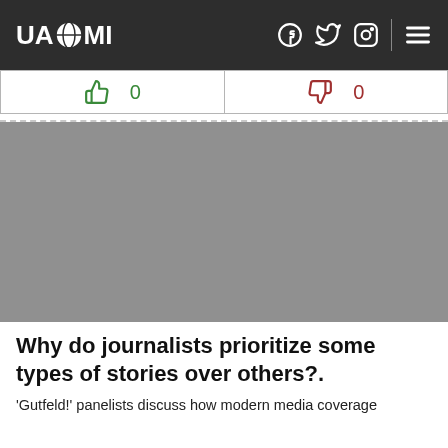UAZMI
[Figure (infographic): Vote bar with thumbs up icon showing 0 likes (green) and thumbs down icon showing 0 dislikes (red)]
[Figure (photo): Gray placeholder image block]
Why do journalists prioritize some types of stories over others?.
'Gutfeld!' panelists discuss how modern media coverage